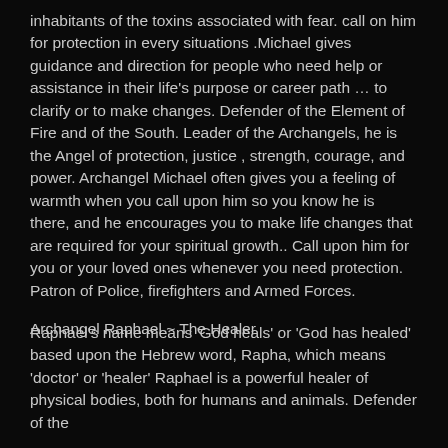inhabitants of the toxins associated with fear. call on him for protection in every situations .Michael gives guidance and direction for people who need help or assistance in their life's purpose or career path … to clarify or to make changes. Defender of the Element of Fire and of the South. Leader of the Archangels, he is the Angel of protection, justice , strength, courage,  and power. Archangel Michael often gives you a feeling of warmth when you call upon him so you know he is there, and he encourages you to make life changes that are required for your spiritual growth..  Call upon him for you or your loved ones whenever you need protection. Patron of Police, firefighters and Armed Forces.
Archangel Raphael ~ The Healer
Raphael's name means 'God heals' or 'God has healed' based upon the Hebrew word, Rapha, which means 'doctor' or 'healer' Raphael is a powerful healer of physical bodies, both for humans and animals. Defender of the